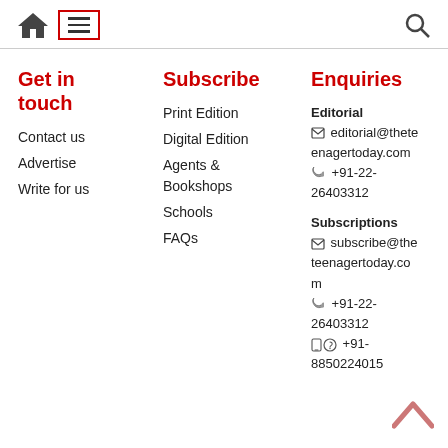Home | Menu | Search
Get in touch
Contact us
Advertise
Write for us
Subscribe
Print Edition
Digital Edition
Agents & Bookshops
Schools
FAQs
Enquiries
Editorial
✉ editorial@theteenagertoday.com
📞 +91-22-26403312
Subscriptions
✉ subscribe@theteenagertoday.com
📞 +91-22-26403312
📱 +91-8850224015